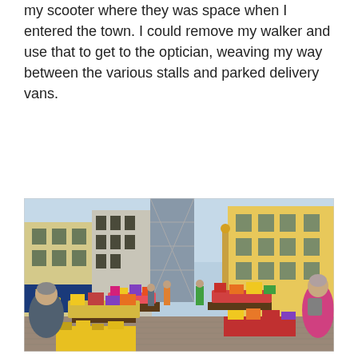my scooter where they was space when I entered the town. I could remove my walker and use that to get to the optician, weaving my way between the various stalls and parked delivery vans.
[Figure (photo): Outdoor flower market in a European town square. Colorful flowers displayed on market stalls and tables along a cobblestone pedestrian street, flanked by multi-storey historic buildings. A Tchibo coffee shop sign is visible on the left. People browse the stalls including a woman in a pink jacket on the right and another in a grey jacket on the left.]